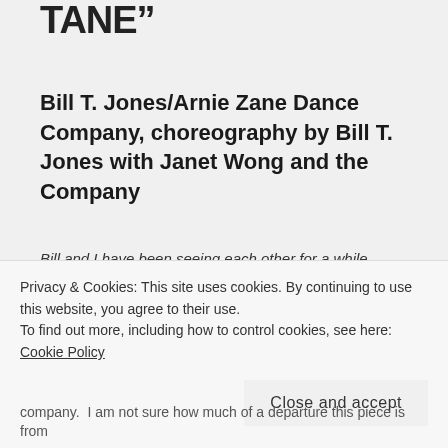TANE”
Bill T. Jones/Arnie Zane Dance Company, choreography by Bill T. Jones with Janet Wong and the Company
Bill and I have been seeing each other for a while.
I first saw the Bill T. Jones/Arnie Zane Dance Company in 2006 when they performed Blind Date in Madison, WI.  I was in graduate school, and eventually, the dance became a central feature in one chapter of my dissertation.  Since then, I’ve also seen Chanel/Chapter, Fondly
Privacy & Cookies: This site uses cookies. By continuing to use this website, you agree to their use.
To find out more, including how to control cookies, see here: Cookie Policy
Close and accept
company.  I am not sure how much of a departure this piece is from